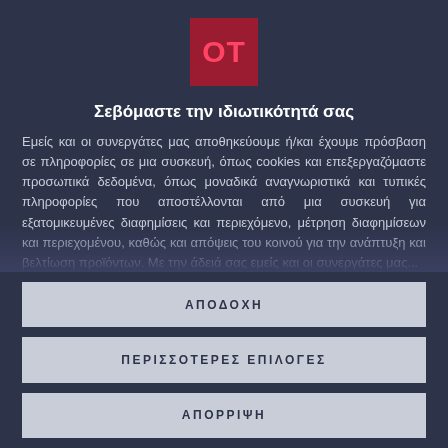[Figure (logo): Dark red square logo with letters OT in pink/red]
Σεβόμαστε την ιδιωτικότητά σας
Εμείς και οι συνεργάτες μας αποθηκεύουμε ή/και έχουμε πρόσβαση σε πληροφορίες σε μια συσκευή, όπως cookies και επεξεργαζόμαστε προσωπικά δεδομένα, όπως μοναδικά αναγνωριστικά και τυπικές πληροφορίες που αποστέλλονται από μια συσκευή για εξατομικευμένες διαφημίσεις και περιεχόμενο, μέτρηση διαφημίσεων και περιεχομένου, καθώς και απόψεις του κοινού για την ανάπτυξη και βελτίωση προϊόντων. Με την άδειά σας εμείς και οι συνεργάτες μας...
ΑΠΟΔΟΧΗ
ΠΕΡΙΣΣΟΤΕΡΕΣ ΕΠΙΛΟΓΕΣ
ΑΠΟΡΡΙΨΗ